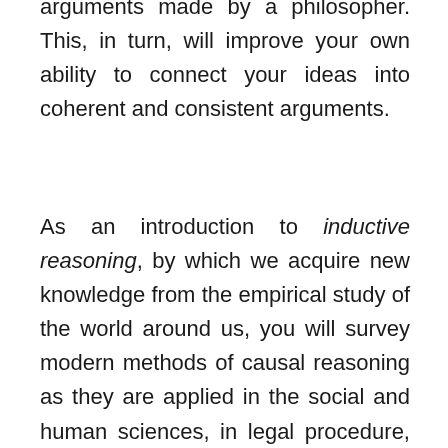arguments made by a philosopher. This, in turn, will improve your own ability to connect your ideas into coherent and consistent arguments.
As an introduction to inductive reasoning, by which we acquire new knowledge from the empirical study of the world around us, you will survey modern methods of causal reasoning as they are applied in the social and human sciences, in legal procedure, or in the design of policies intended to solve a problem. Working with many